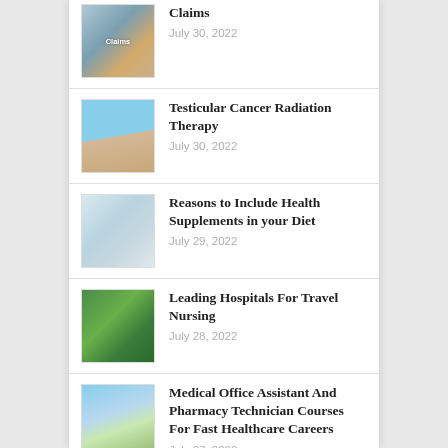Claims
Testicular Cancer Radiation Therapy
Reasons to Include Health Supplements in your Diet
Leading Hospitals For Travel Nursing
Medical Office Assistant And Pharmacy Technician Courses For Fast Healthcare Careers
Getting Treatment From an Orthopedist or an OrthoNOW Clinic